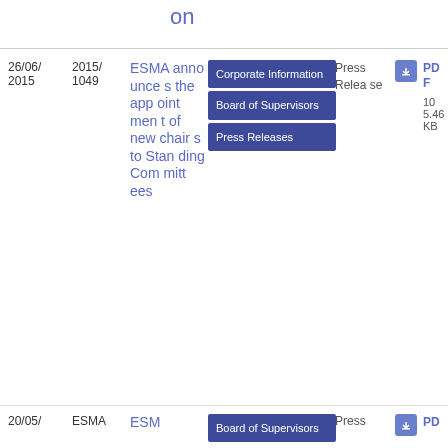on
| Date | Ref | Title | Tags | Type | Icon | Format | Size |
| --- | --- | --- | --- | --- | --- | --- | --- |
| 26/06/2015 | 2015/1049 | ESMA announces the appointment of new chairs to Standing Committees | Corporate Information, Board of Supervisors, Press Releases | Press Release |  | PDF | 105.46 KB |
| 20/05/ | ESMA | ESM | Board of Supervisors | Press |  | PD |  |